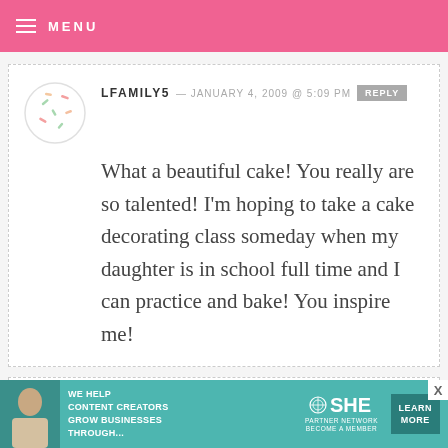MENU
LFAMILY5 — JANUARY 4, 2009 @ 5:09 PM REPLY
What a beautiful cake! You really are so talented! I'm hoping to take a cake decorating class someday when my daughter is in school full time and I can practice and bake! You inspire me!
HEATHER P. — JANUARY 4, 2009 @ 4:48 PM REPLY
[Figure (infographic): Advertisement banner: SHE Partner Network — We help content creators grow businesses through... Learn More]